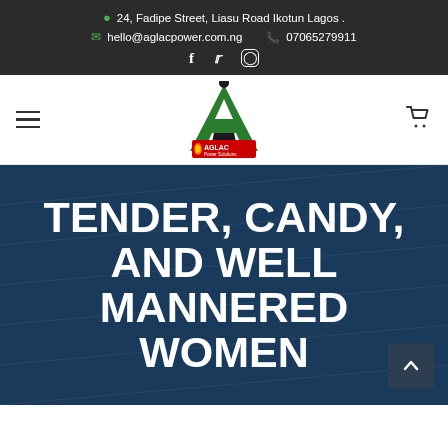24, Fadipe Street, Liasu Road Ikotun Lagos . | hello@aglacpower.com.ng | 07065279911
[Figure (logo): AGLAC Power Solutions logo: green letter A with a small black dot above it, and a tagline badge below reading AGLAC Power Solutions with a flame graphic]
TENDER, CANDY, AND WELL MANNERED WOMEN